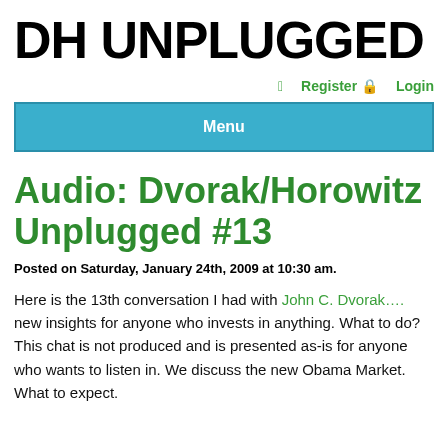DH UNPLUGGED
Register  Login
Menu
Audio: Dvorak/Horowitz Unplugged #13
Posted on Saturday, January 24th, 2009 at 10:30 am.
Here is the 13th conversation I had with John C. Dvorak…. new insights for anyone who invests in anything. What to do? This chat is not produced and is presented as-is for anyone who wants to listen in. We discuss the new Obama Market. What to expect.